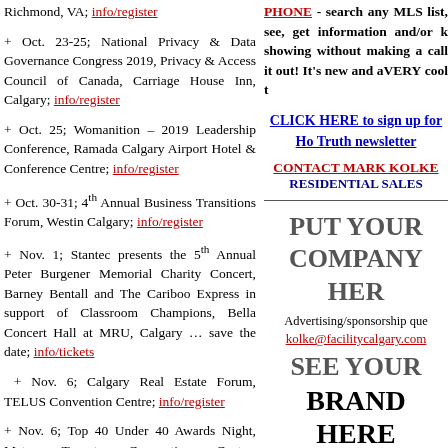+ Oct. 23-25; National Privacy & Data Governance Congress 2019, Privacy & Access Council of Canada, Carriage House Inn, Calgary; info/register
+ Oct. 25; Womanition – 2019 Leadership Conference, Ramada Calgary Airport Hotel & Conference Centre; info/register
+ Oct. 30-31; 4th Annual Business Transitions Forum, Westin Calgary; info/register
+ Nov. 1; Stantec presents the 5th Annual Peter Burgener Memorial Charity Concert, Barney Bentall and The Cariboo Express in support of Classroom Champions, Bella Concert Hall at MRU, Calgary … save the date; info/tickets
+ Nov. 6; Calgary Real Estate Forum, TELUS Convention Centre; info/register
+ Nov. 6; Top 40 Under 40 Awards Night, Metro Toronto Convention Centre; info/tickets
+ Nov. 11; ADIPEC – Abu Dhabi
PHONE - search any MLS list, see, get information and/or showing without making a call it out! It's new and aVERY cool t
CLICK HERE to sign up for Ho Truth newsletter
CONTACT MARK KOLKE RESIDENTIAL SALES
PUT YOUR COMPANY HER Advertising/sponsorship que kolke@facilitycalgary.com SEE YOUR BRAND HERE